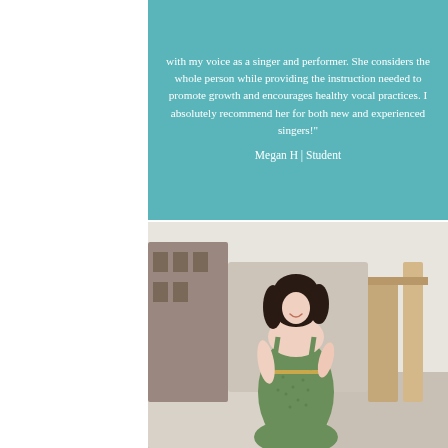with my voice as a singer and performer. She considers the whole person while providing the instruction needed to promote growth and encourages healthy vocal practices. I absolutely recommend her for both new and experienced singers!"
Megan H | Student
[Figure (photo): A young woman with dark hair wearing a green patterned dress, photographed outdoors on a city street, looking back over her shoulder and smiling.]